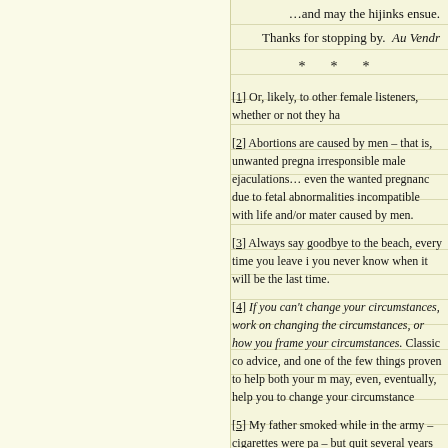…and may the hijinks ensue.
Thanks for stopping by.  Au Vendr
* * *
[1] Or, likely, to other female listeners, whether or not they ha
[2] Abortions are caused by men – that is, unwanted pregna irresponsible male ejaculations… even the wanted pregnanc due to fetal abnormalities incompatible with life and/or mater caused by men.
[3] Always say goodbye to the beach, every time you leave i you never know when it will be the last time.
[4] If you can't change your circumstances, work on changing the circumstances, or how you frame your circumstances. Classic co advice, and one of the few things proven to help both your m may, even, eventually, help you to change your circumstance
[5] My father smoked while in the army – cigarettes were pa – but quit several years before meeting my mother.
[6] Three to six times more likely, as various studies show.